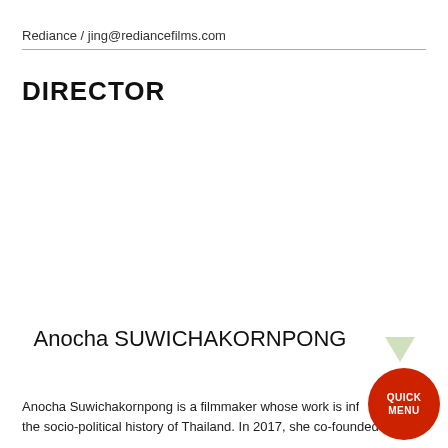Rediance / jing@rediancefilms.com
DIRECTOR
Anocha SUWICHAKORNPONG
Anocha Suwichakornpong is a filmmaker whose work is influenced by the socio-political history of Thailand. In 2017, she co-founded